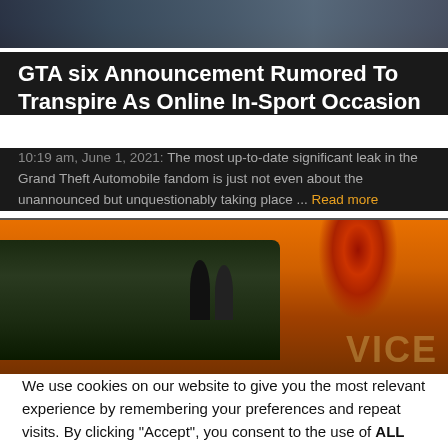[Figure (screenshot): Dark-toned gaming screenshot at top of page, partially visible characters/scene]
GTA six Announcement Rumored To Transpire As Online In-Sport Occasion
10:19 am, June 1, 2021: The most up-to-date significant leak in the Grand Theft Automobile fandom is just not even about the unannounced but unquestionably taking place ... Read more
[Figure (screenshot): GTA Vice City style image with warm orange/red tones, bus and palm tree visible]
We use cookies on our website to give you the most relevant experience by remembering your preferences and repeat visits. By clicking “Accept”, you consent to the use of ALL the cookies.
Do not sell my personal information.
Cookie settings   ACCEPT